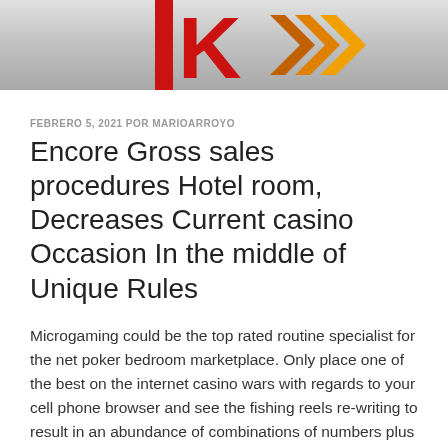[Figure (logo): Website header banner with red letter K logo and orange/yellow arrow chevron design on gray gradient background]
FEBRERO 5, 2021 POR MARIOARROYO
Encore Gross sales procedures Hotel room, Decreases Current casino Occasion In the middle of Unique Rules
Microgaming could be the top rated routine specialist for the net poker bedroom marketplace. Only place one of the best on the internet casino wars with regards to your cell phone browser and see the fishing reels re-writing to result in an abundance of combinations of numbers plus icons. The internet online casino the place where a gamer